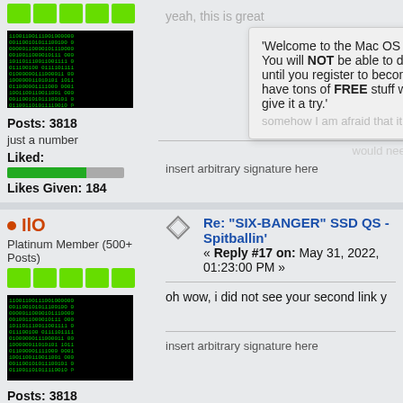[Figure (screenshot): Forum post block 1 top portion: avatar with matrix binary code image, sidebar shows Posts: 3818, just a number, Liked bar, Likes Given: 184. Main content area shows faded text and a popup overlay saying Welcome to the Mac OS 9 Lives! Forum...]
Posts: 3818
just a number
Liked:
Likes Given: 184
insert arbitrary signature here
IlO
Platinum Member (500+ Posts)
Re: “SIX-BANGER” SSD QS - Spitballin'
« Reply #17 on: May 31, 2022, 01:23:00 PM »
oh wow, i did not see your second link y
insert arbitrary signature here
Posts: 3818